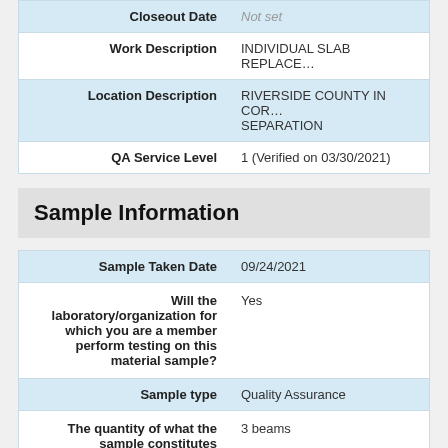| Field | Value |
| --- | --- |
| Closeout Date | Not set |
| Work Description | INDIVIDUAL SLAB REPLACE… |
| Location Description | RIVERSIDE COUNTY IN COR… SEPARATION |
| QA Service Level | 1 (Verified on 03/30/2021) |
Sample Information
| Field | Value |
| --- | --- |
| Sample Taken Date | 09/24/2021 |
| Will the laboratory/organization for which you are a member perform testing on this material sample? | Yes |
| Sample type | Quality Assurance |
| The quantity of what the sample constitutes | 3 beams |